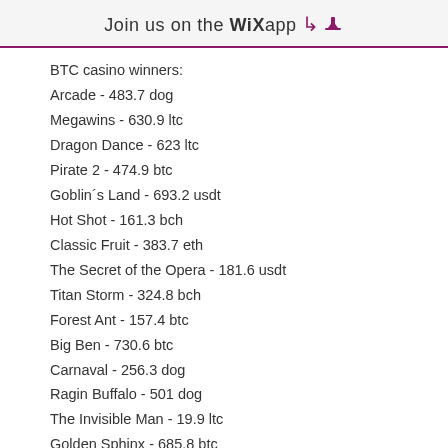Join us on the WiX app ⬇
BTC casino winners:
Arcade - 483.7 dog
Megawins - 630.9 ltc
Dragon Dance - 623 ltc
Pirate 2 - 474.9 btc
Goblin´s Land - 693.2 usdt
Hot Shot - 161.3 bch
Classic Fruit - 383.7 eth
The Secret of the Opera - 181.6 usdt
Titan Storm - 324.8 bch
Forest Ant - 157.4 btc
Big Ben - 730.6 btc
Carnaval - 256.3 dog
Ragin Buffalo - 501 dog
The Invisible Man - 19.9 ltc
Golden Sphinx - 685.8 btc
Popular Table Games: